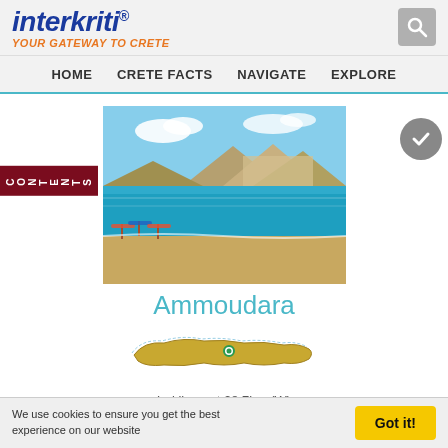interkriti® YOUR GATEWAY TO CRETE
HOME  CRETE FACTS  NAVIGATE  EXPLORE
[Figure (photo): Sandy beach of Ammoudara with turquoise sea, beach umbrellas and mountainous coastline in background]
Ammoudara
[Figure (map): Map of Crete island with green dot marking Ammoudara location near Irak­lion]
Irak­lion   at 28.7km (W)
Ammoudara (GR: Αμμουδάρα) is four kilometre long sandy beach that stretches from the west end of Heraklion to
We use cookies to ensure you get the best experience on our website